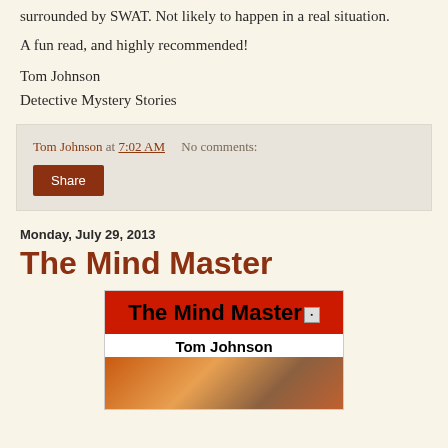surrounded by SWAT. Not likely to happen in a real situation.
A fun read, and highly recommended!
Tom Johnson
Detective Mystery Stories
Tom Johnson at 7:02 AM   No comments:
Share
Monday, July 29, 2013
The Mind Master
[Figure (illustration): Book cover for 'The Mind Master' by Tom Johnson. Red background with black bold title text and author name on white banner, with a figure image at the bottom.]